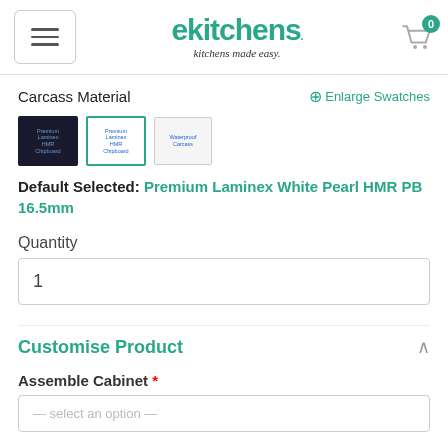ekitchens — kitchens made easy
Carcass Material
Enlarge Swatches
[Figure (other): Three product swatches for carcass material options: Premium Laminex HMR Chipboard (dark), Premium Laminex HMR Chipboard (white, selected with green border), Waterproof Carcass]
Default Selected: Premium Laminex White Pearl HMR PB 16.5mm
Quantity
1
Customise Product
Assemble Cabinet *